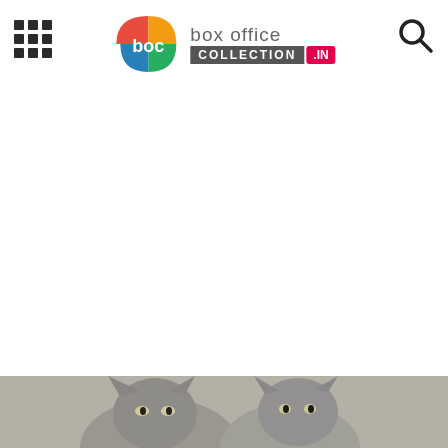[Figure (logo): Box Office Collection .IN logo with colorful boc icon, menu grid icon on left, search icon on right]
[Figure (photo): Partial photo of a cat visible at the bottom of the page]